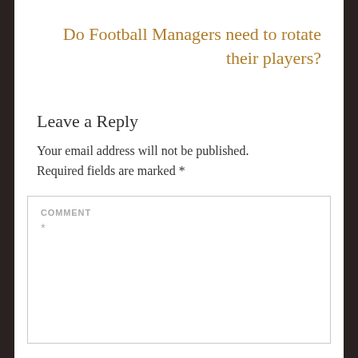Do Football Managers need to rotate their players?
Leave a Reply
Your email address will not be published. Required fields are marked *
COMMENT *